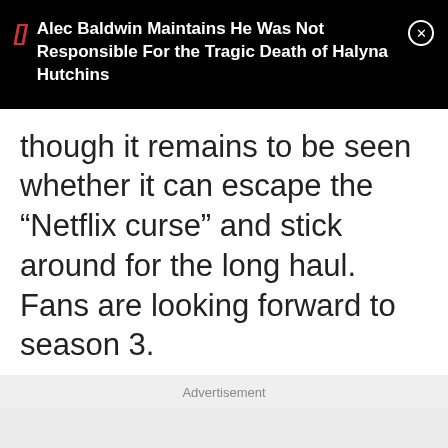Alec Baldwin Maintains He Was Not Responsible For the Tragic Death of Halyna Hutchins
though it remains to be seen whether it can escape the “Netflix curse” and stick around for the long haul. Fans are looking forward to season 3.
Advertisement